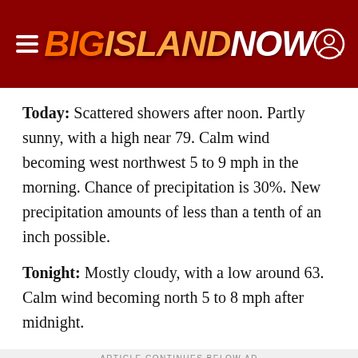Big Island Now
Today: Scattered showers after noon. Partly sunny, with a high near 79. Calm wind becoming west northwest 5 to 9 mph in the morning. Chance of precipitation is 30%. New precipitation amounts of less than a tenth of an inch possible.
Tonight: Mostly cloudy, with a low around 63. Calm wind becoming north 5 to 8 mph after midnight.
ARTICLE CONTINUES BELOW AD
[Figure (other): Advertisement banner with teal wave pattern on dark blue background]